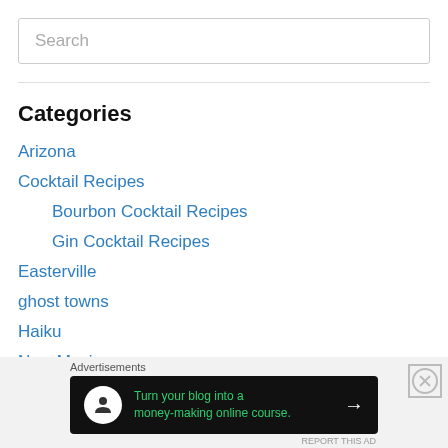Search
Categories
Arizona
Cocktail Recipes
Bourbon Cocktail Recipes
Gin Cocktail Recipes
Easterville
ghost towns
Haiku
New Mexico
Parables
Restaurant Reviews
[Figure (infographic): Advertisement banner: Turn your blog into a money-making online course. Dark background with green text and arrow.]